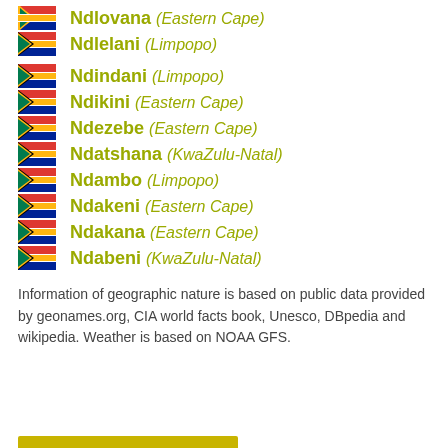Ndlovana (Eastern Cape)
Ndlelani (Limpopo)
Ndindani (Limpopo)
Ndikini (Eastern Cape)
Ndezebe (Eastern Cape)
Ndatshana (KwaZulu-Natal)
Ndambo (Limpopo)
Ndakeni (Eastern Cape)
Ndakana (Eastern Cape)
Ndabeni (KwaZulu-Natal)
Information of geographic nature is based on public data provided by geonames.org, CIA world facts book, Unesco, DBpedia and wikipedia. Weather is based on NOAA GFS.